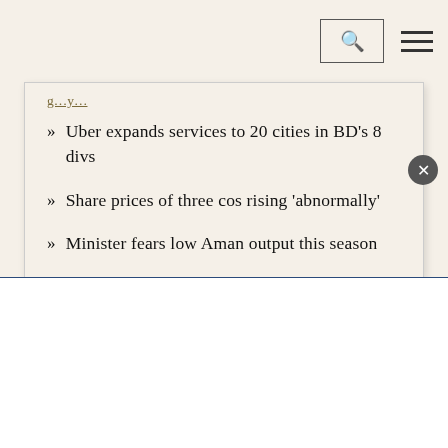[Navigation bar with search and menu icons]
» Uber expands services to 20 cities in BD's 8 divs
» Share prices of three cos rising 'abnormally'
» Minister fears low Aman output this season
» Indian billionaire Adani seeks to control NDTV; media group says move without consent